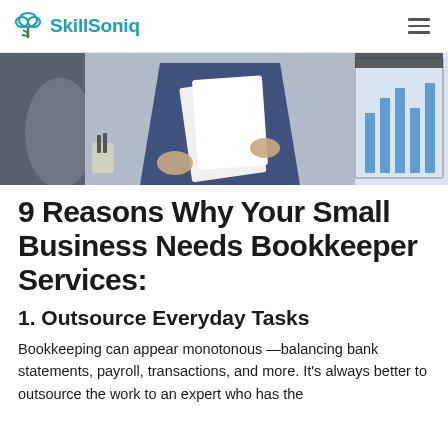SkillSoniq
[Figure (photo): Two business professionals reviewing documents together, with a bar chart visible on a screen in the background]
9 Reasons Why Your Small Business Needs Bookkeeper Services:
1. Outsource Everyday Tasks
Bookkeeping can appear monotonous —balancing bank statements, payroll, transactions, and more. It's always better to outsource the work to an expert who has the